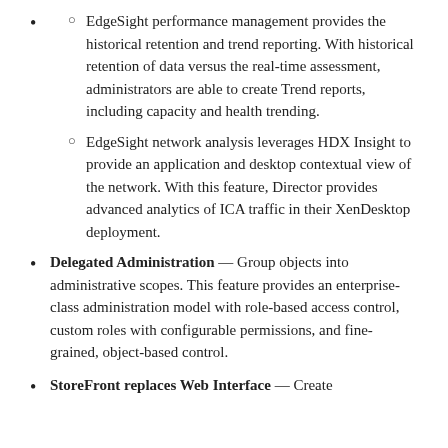EdgeSight performance management provides the historical retention and trend reporting. With historical retention of data versus the real-time assessment, administrators are able to create Trend reports, including capacity and health trending.
EdgeSight network analysis leverages HDX Insight to provide an application and desktop contextual view of the network. With this feature, Director provides advanced analytics of ICA traffic in their XenDesktop deployment.
Delegated Administration — Group objects into administrative scopes. This feature provides an enterprise-class administration model with role-based access control, custom roles with configurable permissions, and fine-grained, object-based control.
StoreFront replaces Web Interface — Create